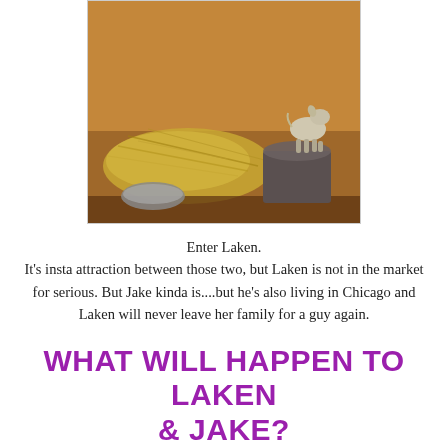[Figure (photo): A small goat or young animal standing on a wooden stump/pedestal inside a barn or enclosure with hay/straw on the ground, warm golden-brown lighting on the walls.]
Enter Laken.
It's insta attraction between those two, but Laken is not in the market for serious. But Jake kinda is....but he's also living in Chicago and Laken will never leave her family for a guy again.
WHAT WILL HAPPEN TO LAKEN & JAKE?
WILL THERE BE A HEA???